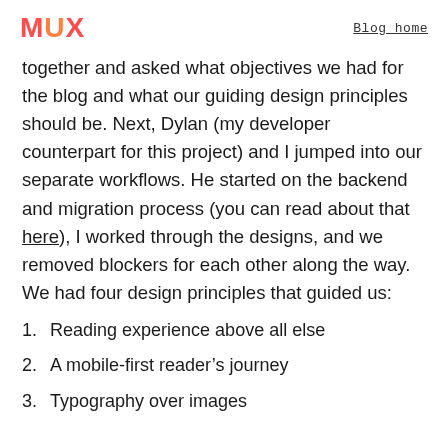MUX   Blog home
together and asked what objectives we had for the blog and what our guiding design principles should be. Next, Dylan (my developer counterpart for this project) and I jumped into our separate workflows. He started on the backend and migration process (you can read about that here), I worked through the designs, and we removed blockers for each other along the way. We had four design principles that guided us:
1. Reading experience above all else
2. A mobile-first reader’s journey
3. Typography over images